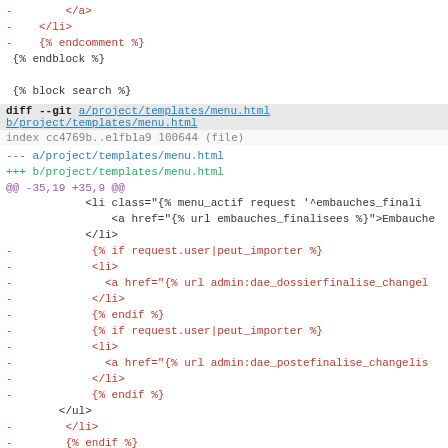-        </a>
-    </li>
-    {% endcomment %}
 {% endblock %}

 {% block search %}
diff --git a/project/templates/menu.html b/project/templates/menu.html
index cc4769b..e1fb1a9 100644 (file)
--- a/project/templates/menu.html
+++ b/project/templates/menu.html
@@ -35,19 +35,9 @@
            <li class="{% menu_actif request '^embauches_finali
                <a href="{% url embauches_finalisees %}">Embauche
            </li>
-            {% if request.user|peut_importer %}
-            <li>
-              <a href="{% url admin:dae_dossierfinalisee_changel
-            </li>
-            {% endif %}
-            {% if request.user|peut_importer %}
-            <li>
-              <a href="{% url admin:dae_postefinalise_changelis
-            </li>
-            {% endif %}
        </ul>
-        </li>
-        {% endif %}
+    </li>
+    {% endif %}